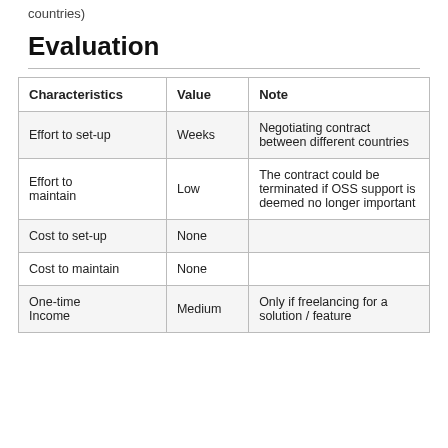countries)
Evaluation
| Characteristics | Value | Note |
| --- | --- | --- |
| Effort to set-up | Weeks | Negotiating contract between different countries |
| Effort to maintain | Low | The contract could be terminated if OSS support is deemed no longer important |
| Cost to set-up | None |  |
| Cost to maintain | None |  |
| One-time Income | Medium | Only if freelancing for a solution / feature |